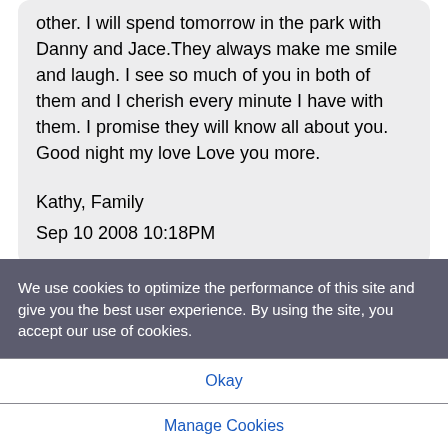other. I will spend tomorrow in the park with Danny and Jace.They always make me smile and laugh. I see so much of you in both of them and I cherish every minute I have with them. I promise they will know all about you. Good night my love Love you more.
Kathy, Family
Sep 10 2008 10:18PM
We use cookies to optimize the performance of this site and give you the best user experience. By using the site, you accept our use of cookies.
Okay
Manage Cookies